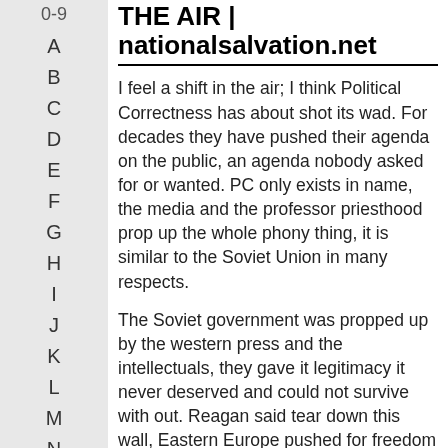0-9
A
B
C
D
E
F
G
H
I
J
K
L
M
N
O
P
THE AIR | nationalsalvation.net
I feel a shift in the air; I think Political Correctness has about shot its wad. For decades they have pushed their agenda on the public, an agenda nobody asked for or wanted. PC only exists in name, the media and the professor priesthood prop up the whole phony thing, it is similar to the Soviet Union in many respects.
The Soviet government was propped up by the western press and the intellectuals, they gave it legitimacy it never deserved and could not survive with out. Reagan said tear down this wall, Eastern Europe pushed for freedom and a vacuum occurred that brought the entire